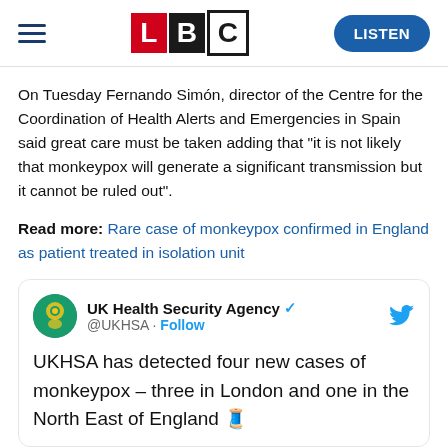LBC | LISTEN
On Tuesday Fernando Simón, director of the Centre for the Coordination of Health Alerts and Emergencies in Spain said great care must be taken adding that "it is not likely that monkeypox will generate a significant transmission but it cannot be ruled out".
Read more: Rare case of monkeypox confirmed in England as patient treated in isolation unit
[Figure (screenshot): Embedded tweet from UK Health Security Agency (@UKHSA) with Follow link and Twitter bird icon. Tweet text: UKHSA has detected four new cases of monkeypox – three in London and one in the North East of England 🧵]